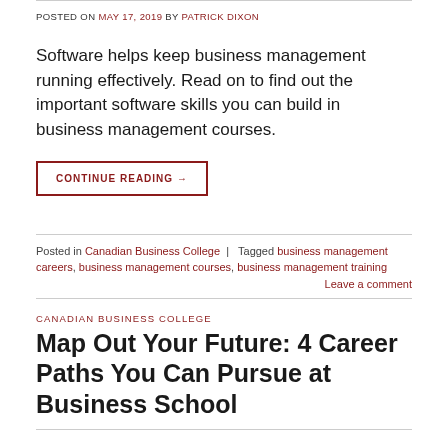POSTED ON MAY 17, 2019 BY PATRICK DIXON
Software helps keep business management running effectively. Read on to find out the important software skills you can build in business management courses.
CONTINUE READING →
Posted in Canadian Business College | Tagged business management careers, business management courses, business management training Leave a comment
CANADIAN BUSINESS COLLEGE
Map Out Your Future: 4 Career Paths You Can Pursue at Business School